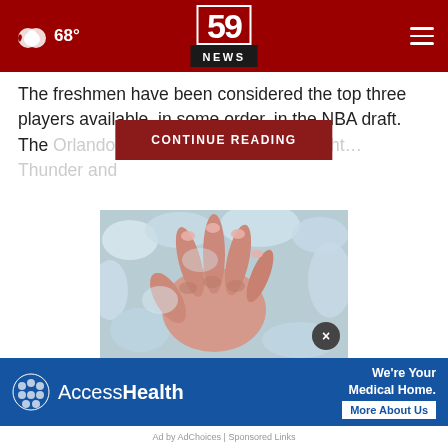68° | 59 NEWS
The freshmen have been considered the top three players available, in some order, in the NBA draft. The Orlando Magic [CONTINUE READING] first on Thursday nigh... Thunder and
[Figure (photo): A hand resting on ice/ice cubes, fingers splayed, showing frostbite or cold treatment]
[Figure (other): AccessHealth advertisement: We're Your Medical Home. More About Us]